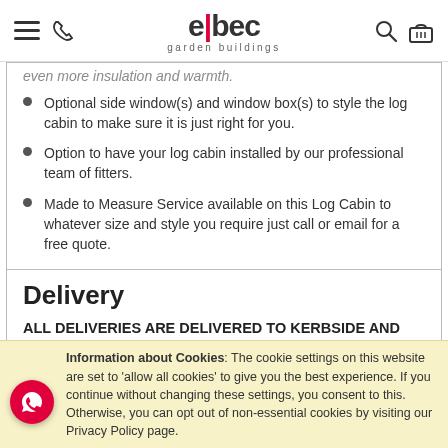elbec garden buildings
even more insulation and warmth.
Optional side window(s) and window box(s) to style the log cabin to make sure it is just right for you.
Option to have your log cabin installed by our professional team of fitters.
Made to Measure Service available on this Log Cabin to whatever size and style you require just call or email for a free quote.
Delivery
ALL DELIVERIES ARE DELIVERED TO KERBSIDE AND ARE FLAT PACKED READY FOR ASSEMBLY
Information about Cookies: The cookie settings on this website are set to 'allow all cookies' to give you the best experience. If you continue without changing these settings, you consent to this. Otherwise, you can opt out of non-essential cookies by visiting our Privacy Policy page.